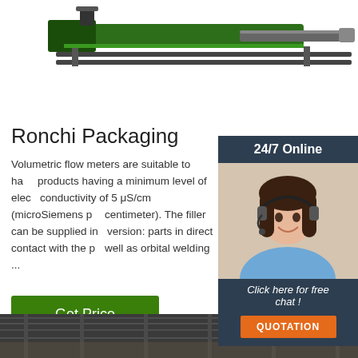[Figure (illustration): Industrial conveyor/pipeline machine illustration shown at the top of the page, partially cropped]
[Figure (photo): 24/7 Online support widget with a smiling woman wearing a headset, dark navy background, 'Click here for free chat!' text, and an orange QUOTATION button]
Ronchi Packaging
Volumetric flow meters are suitable to handle products having a minimum level of electrical conductivity of 5 μS/cm (microSiemens per centimeter). The filler can be supplied in version: parts in direct contact with the p... well as orbital welding ...
[Figure (other): Green 'Get Price' button]
[Figure (photo): Industrial facility interior photo at the bottom of the page, partially visible]